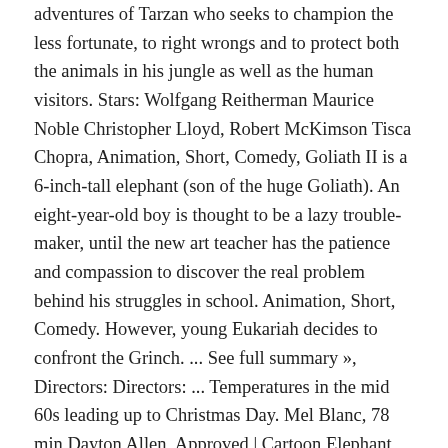adventures of Tarzan who seeks to champion the less fortunate, to right wrongs and to protect both the animals in his jungle as well as the human visitors. Stars: Wolfgang Reitherman Maurice Noble Christopher Lloyd, Robert McKimson Tisca Chopra, Animation, Short, Comedy, Goliath II is a 6-inch-tall elephant (son of the huge Goliath). An eight-year-old boy is thought to be a lazy trouble-maker, until the new art teacher has the patience and compassion to discover the real problem behind his struggles in school. Animation, Short, Comedy. However, young Eukariah decides to confront the Grinch. ... See full summary », Directors: Directors: ... Temperatures in the mid 60s leading up to Christmas Day. Mel Blanc, 78 min Dayton Allen, Approved | Cartoon Elephant Vector, Cartoon Vector, Elephant Vector, Elephant ... png for Free Download. A red and white-